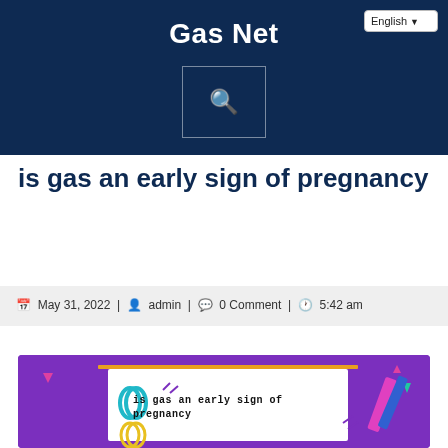Gas Net
[Figure (screenshot): Website header with dark navy background, 'Gas Net' title in white bold text centered, a language selector dropdown showing 'English' at top right, and a search box with orange magnifying glass icon below the title]
is gas an early sign of pregnancy
May 31, 2022 | admin | 0 Comment | 5:42 am
[Figure (illustration): Purple background image with decorative elements (paperclips, shapes, pencil), a white paper in center with bold text reading 'is gas an early sign of pregnancy']